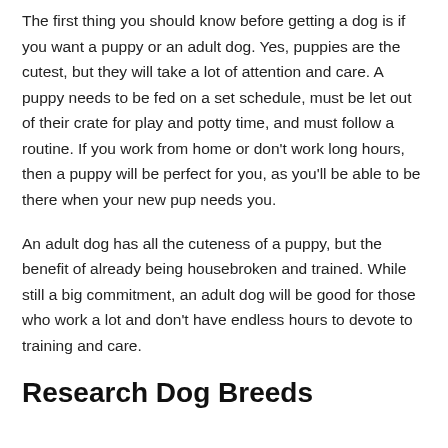The first thing you should know before getting a dog is if you want a puppy or an adult dog. Yes, puppies are the cutest, but they will take a lot of attention and care. A puppy needs to be fed on a set schedule, must be let out of their crate for play and potty time, and must follow a routine. If you work from home or don't work long hours, then a puppy will be perfect for you, as you'll be able to be there when your new pup needs you.
An adult dog has all the cuteness of a puppy, but the benefit of already being housebroken and trained. While still a big commitment, an adult dog will be good for those who work a lot and don't have endless hours to devote to training and care.
Research Dog Breeds